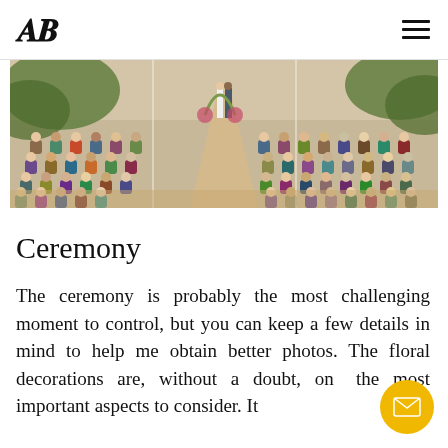AB (logo) | hamburger menu
[Figure (photo): Outdoor beach wedding ceremony viewed from behind the seated guests, showing an aisle lined with chairs leading to the couple at the altar with tropical greenery and ocean in the background.]
Ceremony
The ceremony is probably the most challenging moment to control, but you can keep a few details in mind to help me obtain better photos. The floral decorations are, without a doubt, one the most important aspects to consider. It